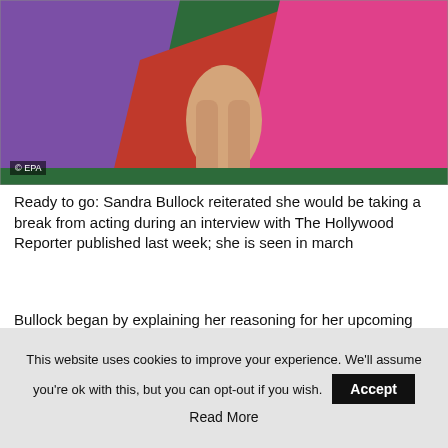[Figure (photo): Photo of a person in colorful purple, red and pink layered dress/gown on a green carpet, showing legs and black high-heel shoes. Photo credit: © EPA]
Ready to go: Sandra Bullock reiterated she would be taking a break from acting during an interview with The Hollywood Reporter published last week; she is seen in march
Bullock began by explaining her reasoning for her upcoming break from acting, noting that she was looking forward to moving at her own pace.
The Academy Award-winning performer stated, “I don’t want to be tied to anyone’s schedule other than mine.”
This website uses cookies to improve your experience. We’ll assume you’re ok with this, but you can opt-out if you wish. Accept
Read More